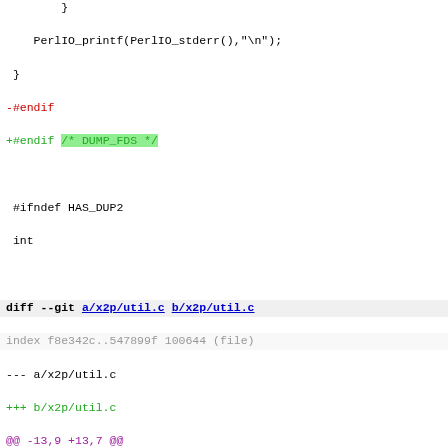}
    PerlIO_printf(PerlIO_stderr(),"\n");
 }
-#endif
+#endif /* DUMP_FDS */

 #ifndef HAS_DUP2
 int

diff --git a/x2p/util.c b/x2p/util.c
index f8e342c..547899f 100644 (file)
--- a/x2p/util.c
+++ b/x2p/util.c
@@ -13,9 +13,7 @@
 #include "INTERN.h"
 #include "util.h"

-#ifdef I_STDARG
-#  include <stdarg.h>
-#endif
+#include <stdarg.h>
 #define FLUSH

 static char nomem[] = "Out of memory!\n";
@@ -176,16 +174,9 @@ growstr(char **strptr, int *curlen, int
 }

 void
-#if defined(I_STDARG) && defined(HAS_VPRINTF)
 croak(char *pat,...)
-#else /* I_STDARG */
-#VARARGSA(